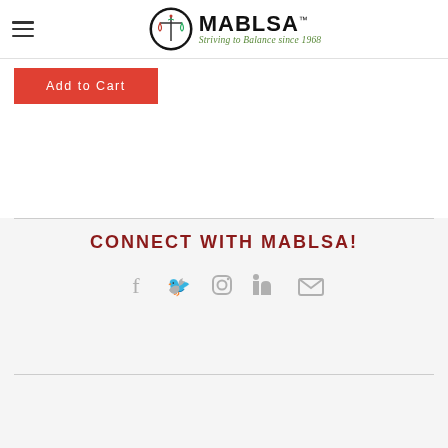MABLSA — Striving to Balance since 1968
Add to Cart
CONNECT WITH MABLSA!
[Figure (illustration): Social media icons: Facebook, Twitter, Instagram, LinkedIn, Email (mail envelope)]